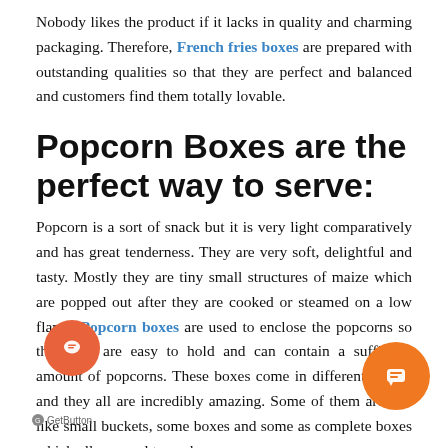Nobody likes the product if it lacks in quality and charming packaging. Therefore, French fries boxes are prepared with outstanding qualities so that they are perfect and balanced and customers find them totally lovable.
Popcorn Boxes are the perfect way to serve:
Popcorn is a sort of snack but it is very light comparatively and has great tenderness. They are very soft, delightful and tasty. Mostly they are tiny small structures of maize which are popped out after they are cooked or steamed on a low flame. Popcorn boxes are used to enclose the popcorns so that they are easy to hold and can contain a sufficient amount of popcorns. These boxes come in different shapes and they all are incredibly amazing. Some of them are just like small buckets, some boxes and some as complete boxes which all are used to pack